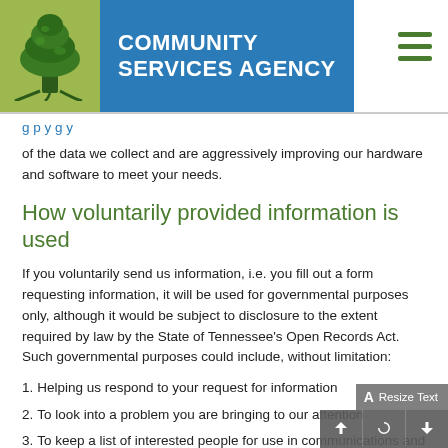[Figure (logo): Community Services Agency logo with tree icon on green background and agency name on blue background]
of the data we collect and are aggressively improving our hardware and software to meet your needs.
How voluntarily provided information is used
If you voluntarily send us information, i.e. you fill out a form requesting information, it will be used for governmental purposes only, although it would be subject to disclosure to the extent required by law by the State of Tennessee's Open Records Act. Such governmental purposes could include, without limitation:
1. Helping us respond to your request for information
2. To look into a problem you are bringing to our attention
3. To keep a list of interested people for use in communications and...